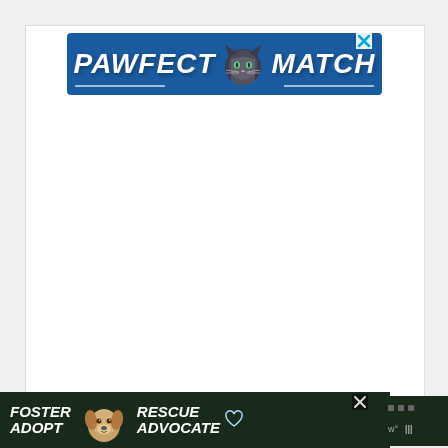[Figure (advertisement): Top banner advertisement for 'PAWFECT MATCH' on a blue background with a cat icon in the center and a close (X) button in the top right corner]
[Figure (advertisement): Bottom banner advertisement on dark background with text 'FOSTER ADOPT' on the left, a dog photo in center, and 'RESCUE ADVOCATE' on the right with a close button and a weather widget]